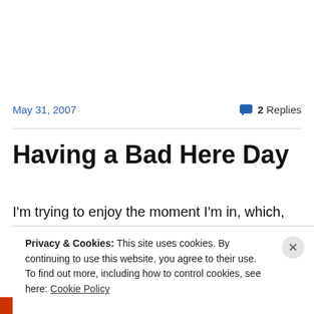May 31, 2007
2 Replies
Having a Bad Here Day
I'm trying to enjoy the moment I'm in, which, according to
Privacy & Cookies: This site uses cookies. By continuing to use this website, you agree to their use. To find out more, including how to control cookies, see here: Cookie Policy
Close and accept